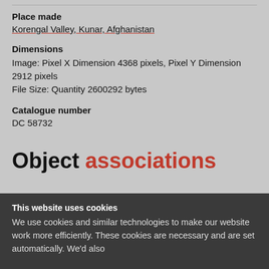Place made
Korengal Valley, Kunar, Afghanistan
Dimensions
Image: Pixel X Dimension 4368 pixels, Pixel Y Dimension 2912 pixels
File Size: Quantity 2600292 bytes
Catalogue number
DC 58732
Object associations
This website uses cookies
We use cookies and similar technologies to make our website work more efficiently. These cookies are necessary and are set automatically. We'd also